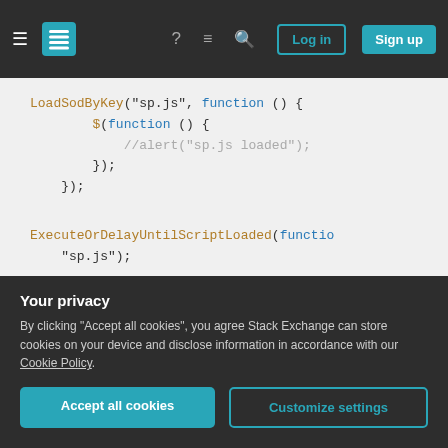Stack Exchange navigation bar with hamburger menu, logo, help, chat, search icons, Log in and Sign up buttons
[Figure (screenshot): Code snippet showing JavaScript: LoadSodByKey, $(function), //alert, ExecuteOrDelayUntilScriptLoaded, function MyMethod(), currentcontext = new SP.ClientContext]
Your privacy
By clicking "Accept all cookies", you agree Stack Exchange can store cookies on your device and disclose information in accordance with our Cookie Policy.
Accept all cookies  Customize settings